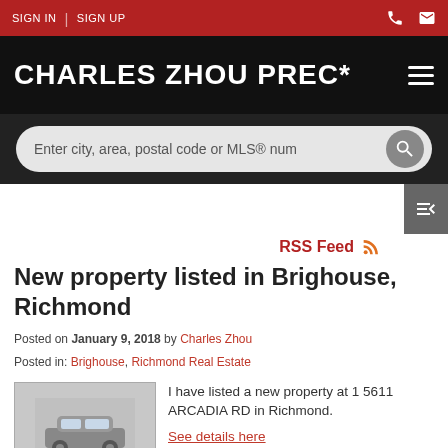SIGN IN | SIGN UP
CHARLES ZHOU PREC*
Enter city, area, postal code or MLS® num
RSS Feed
New property listed in Brighouse, Richmond
Posted on January 9, 2018 by Charles Zhou
Posted in: Brighouse, Richmond Real Estate
[Figure (photo): Property thumbnail photo showing a house/vehicle exterior]
I have listed a new property at 1 5611 ARCADIA RD in Richmond.
See details here